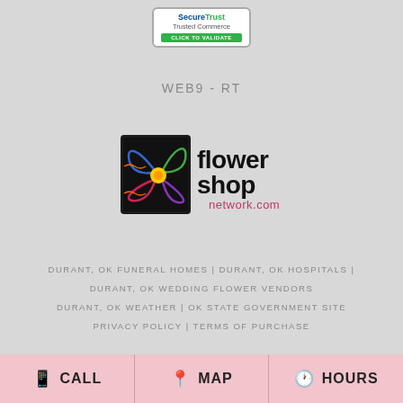[Figure (logo): SecureTrust Trusted Commerce badge with green 'Click to Validate' button]
WEB9 - RT
[Figure (logo): Flower Shop Network logo with colorful flower graphic and text 'flower shop network.com']
DURANT, OK FUNERAL HOMES | DURANT, OK HOSPITALS | DURANT, OK WEDDING FLOWER VENDORS DURANT, OK WEATHER | OK STATE GOVERNMENT SITE PRIVACY POLICY | TERMS OF PURCHASE
CALL   MAP   HOURS